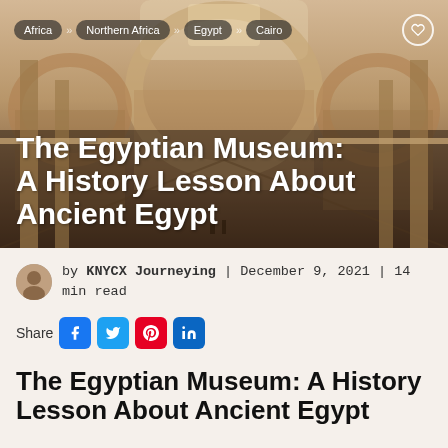[Figure (photo): Interior of the Egyptian Museum in Cairo showing grand arched hallways with neoclassical architecture, with white bold text overlay reading 'The Egyptian Museum: A History Lesson About Ancient Egypt' and breadcrumb navigation showing Africa > Northern Africa > Egypt > Cairo]
by KNYCX Journeying | December 9, 2021 | 14 min read
Share
The Egyptian Museum: A History Lesson About Ancient Egypt